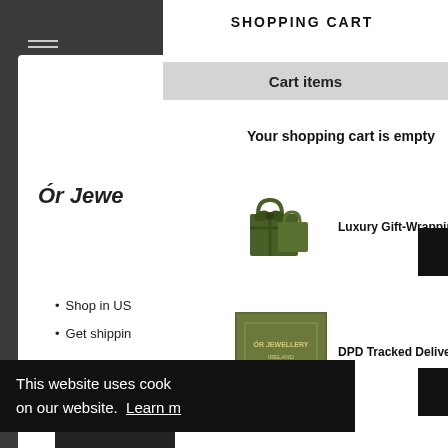SHOPPING CART
Cart items
Your shopping cart is empty
Luxury Gift-Wrapping
Ór Jewe
Shop in US
Get shippin
DPD Tracked Delivery
This website uses cook on our website.  Learn m